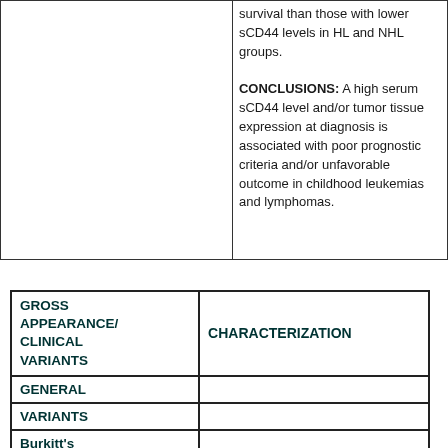|  |  |
| --- | --- |
|  | survival than those with lower sCD44 levels in HL and NHL groups.

CONCLUSIONS: A high serum sCD44 level and/or tumor tissue expression at diagnosis is associated with poor prognostic criteria and/or unfavorable outcome in childhood leukemias and lymphomas. |
| GROSS APPEARANCE/ CLINICAL VARIANTS | CHARACTERIZATION |
| --- | --- |
| GENERAL |  |
| VARIANTS |  |
| Burkitt's lymphoma of |  |